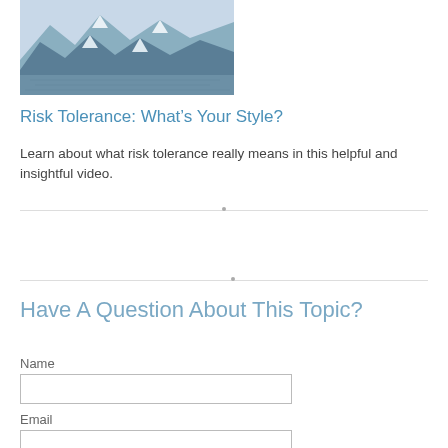[Figure (photo): Mountain landscape with snow-capped peaks and blue glacial water reflection]
Risk Tolerance: What’s Your Style?
Learn about what risk tolerance really means in this helpful and insightful video.
Have A Question About This Topic?
Name
Email
Question